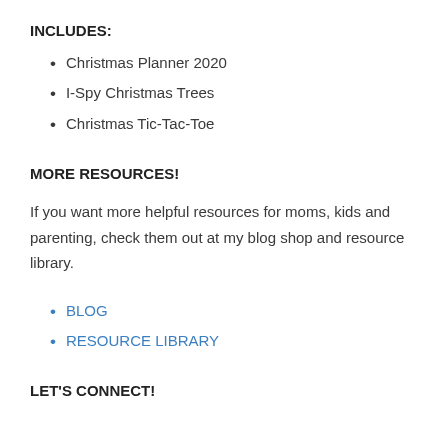INCLUDES:
Christmas Planner 2020
I-Spy Christmas Trees
Christmas Tic-Tac-Toe
MORE RESOURCES!
If you want more helpful resources for moms, kids and parenting, check them out at my blog shop and resource library.
BLOG
RESOURCE LIBRARY
LET'S CONNECT!